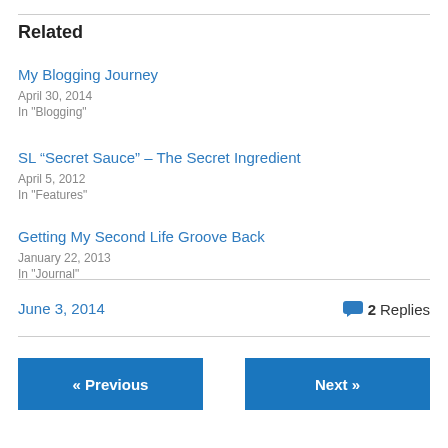Related
My Blogging Journey
April 30, 2014
In "Blogging"
SL “Secret Sauce” – The Secret Ingredient
April 5, 2012
In "Features"
Getting My Second Life Groove Back
January 22, 2013
In "Journal"
June 3, 2014
2 Replies
« Previous
Next »